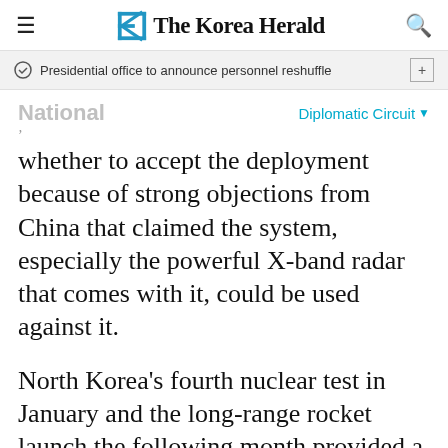The Korea Herald
Presidential office to announce personnel reshuffle
National
Diplomatic Circuit
whether to accept the deployment because of strong objections from China that claimed the system, especially the powerful X-band radar that comes with it, could be used against it.
North Korea's fourth nuclear test in January and the long-range rocket launch the following month provided a strong impetus for the U.S. and South Korea to move ahead